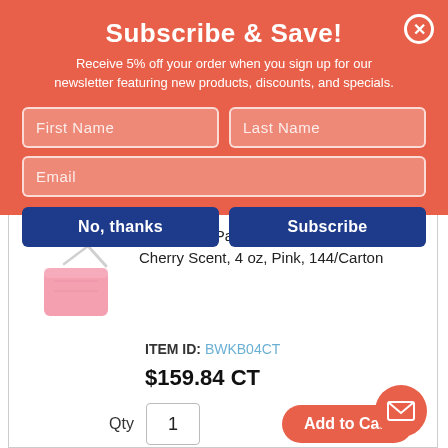Subscribe & Save!
Receive 5% off your order when you sign up for our newsletter featuring new products, discounts, and specials.
First Name
Last Name
Email
No, thanks
Subscribe
Toilet Bowl Para Deodorizer Block, Cherry Scent, 4 oz, Pink, 144/Carton
ITEM ID: BWKB04CT
$159.84 CT
Qty  1
Add to Cart
In Stock